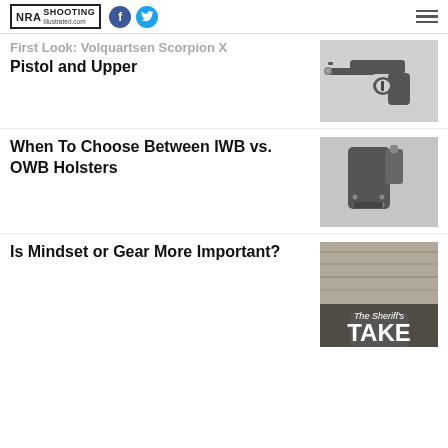NRA Shooting Illustrated .com
First Look: Volquartsen Scorpion X Pistol and Upper
[Figure (photo): Photo of a black Volquartsen Scorpion X pistol]
When To Choose Between IWB vs. OWB Holsters
[Figure (photo): Photo of a black OWB holster]
Is Mindset or Gear More Important?
[Figure (photo): Photo with text overlay reading The Sheriff's TAKE]